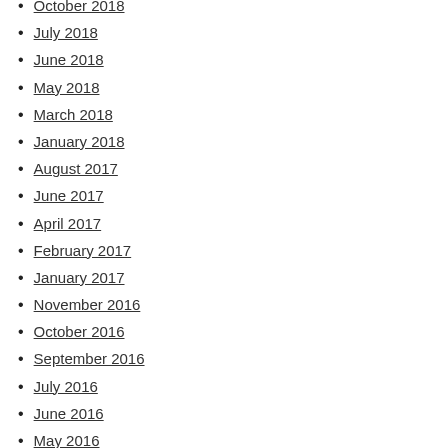October 2018
July 2018
June 2018
May 2018
March 2018
January 2018
August 2017
June 2017
April 2017
February 2017
January 2017
November 2016
October 2016
September 2016
July 2016
June 2016
May 2016
April 2016
December 2015
July 2015
June 2015
April 2015